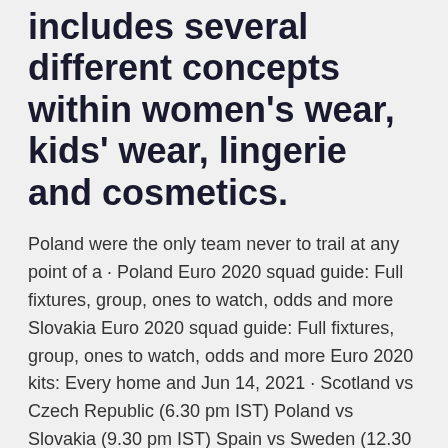includes several different concepts within women's wear, kids' wear, lingerie and cosmetics.
Poland were the only team never to trail at any point of a · Poland Euro 2020 squad guide: Full fixtures, group, ones to watch, odds and more Slovakia Euro 2020 squad guide: Full fixtures, group, ones to watch, odds and more Euro 2020 kits: Every home and Jun 14, 2021 · Scotland vs Czech Republic (6.30 pm IST) Poland vs Slovakia (9.30 pm IST) Spain vs Sweden (12.30 am IST) How to watch the live telecast of Euro Cup 2020? The live telecast will take place on Sony Sports Channels. Sony TEN 3 with live broadcast the matches in Hindi Commentary.